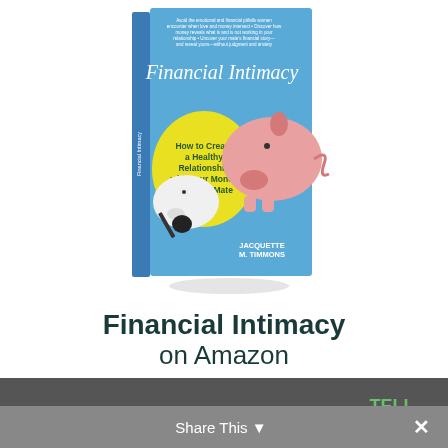[Figure (illustration): Book cover of 'Financial Intimacy: How to Create a Healthy Relationship with Your Money and Your Mate' by Jacquette M. Timmons. Blue cover with a yellow circle containing subtitle text, and two ceramic piggy banks appearing to kiss. Author name at bottom.]
Financial Intimacy on Amazon
We use cookies and trackers to better serve you. Please click to find out more without leaving the page.
TELL ME MORE!
Share This ×